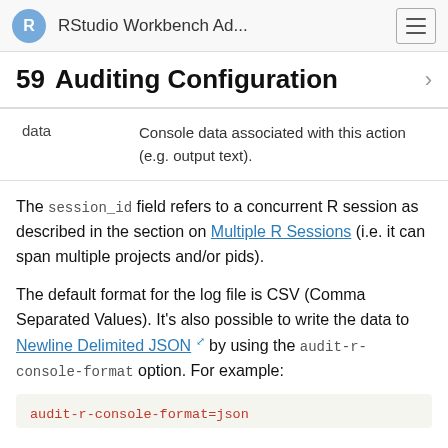R  RStudio Workbench Ad...  ☰
59  Auditing Configuration
| data | Console data associated with this action (e.g. output text). |
The session_id field refers to a concurrent R session as described in the section on Multiple R Sessions (i.e. it can span multiple projects and/or pids).
The default format for the log file is CSV (Comma Separated Values). It's also possible to write the data to Newline Delimited JSON by using the audit-r-console-format option. For example:
audit-r-console-format=json